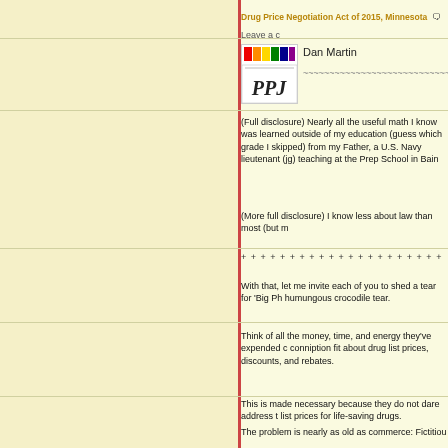Drug Price Negotiation Act of 2015, Minnesota   Leave a c
Dan Martin
~~~~~~~~~~~~~~~~~~~~~~~~~~~~~~~~~~~~~~~~~~~~~~~~
(Full disclosure) Nearly all the useful math I know was learned outside of my education (guess which grade I skipped) from my Father, a U.S. Navy lieutenant (jg) teaching at the Prep School in Bain
(More full disclosure) I know less about law than most (but m
+ + + + + + + + + + + + + + + + + + + + + + + + + + + + + + + + + +
With that, let me invite each of you to shed a tear for 'Big Ph humungous crocodile tear.
Think of all the money, time, and energy they've expended c conniption fit about drug list prices, discounts, and rebates.
This is made necessary because they do not dare address t list prices for life-saving drugs.
The problem is nearly as old as commerce: Fictitious list pric
They know exactly why their list prices are going through the